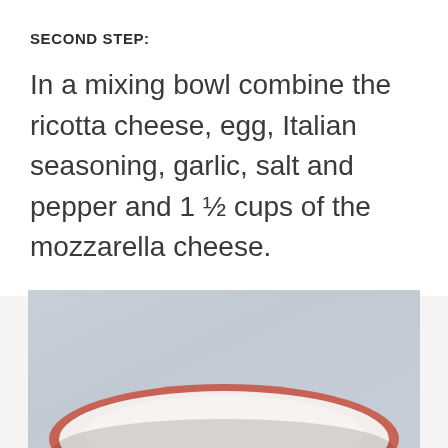SECOND STEP:
In a mixing bowl combine the ricotta cheese, egg, Italian seasoning, garlic, salt and pepper and 1 ½ cups of the mozzarella cheese.
[Figure (photo): Top-down view of a white ceramic mixing bowl on a light grey marble surface, showing the rim and interior of the bowl with what appears to be a reddish-orange spice or seasoning visible along the rim edge.]